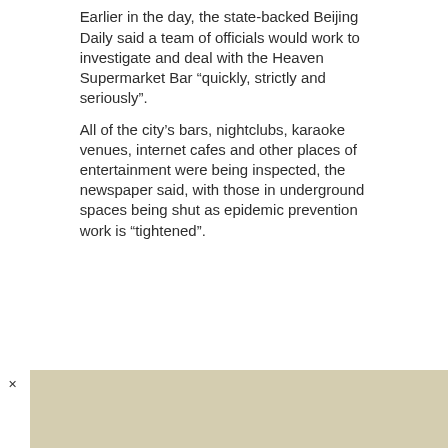Earlier in the day, the state-backed Beijing Daily said a team of officials would work to investigate and deal with the Heaven Supermarket Bar “quickly, strictly and seriously”.
All of the city’s bars, nightclubs, karaoke venues, internet cafes and other places of entertainment were being inspected, the newspaper said, with those in underground spaces being shut as epidemic prevention work is “tightened”.